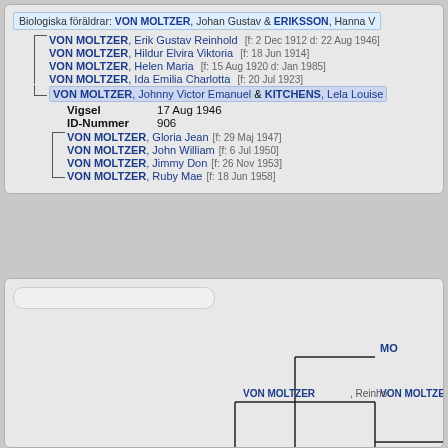Biologiska föräldrar: VON MOLTZER, Johan Gustav & ERIKSSON, Hanna V
VON MOLTZER, Erik Gustav Reinhold [f: 2 Dec 1912 d: 22 Aug 1946]
VON MOLTZER, Hildur Elvira Viktoria [f: 18 Jun 1914]
VON MOLTZER, Helen Maria [f: 15 Aug 1920 d: Jan 1985]
VON MOLTZER, Ida Emilia Charlotta [f: 20 Jul 1923]
VON MOLTZER, Johnny Victor Emanuel & KITCHENS, Lela Louise
Vigsel 17 Aug 1946
ID-Nummer 906
VON MOLTZER, Gloria Jean [f: 29 Maj 1947]
VON MOLTZER, John William [f: 6 Jul 1950]
VON MOLTZER, Jimmy Don [f: 26 Nov 1953]
VON MOLTZER, Ruby Mae [f: 18 Jun 1958]
[Figure (flowchart): Genealogy tree showing VON MOLTZER ancestors with connecting lines. Visible names include VON MOLTZER (truncated), VON MOLTZER (truncated), VON MOLTZER Reinhold (truncated), and WIEB (truncated) in the lower right corner.]